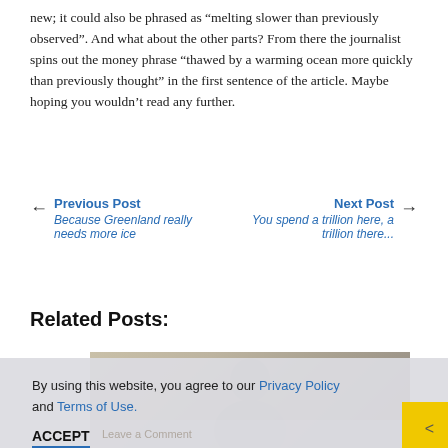new; it could also be phrased as “melting slower than previously observed”. And what about the other parts? From there the journalist spins out the money phrase “thawed by a warming ocean more quickly than previously thought” in the first sentence of the article. Maybe hoping you wouldn’t read any further.
Previous Post
Because Greenland really needs more ice
Next Post
You spend a trillion here, a trillion there...
Related Posts:
[Figure (photo): Partial photo of a person, partially visible, with muted tones]
By using this website, you agree to our Privacy Policy and Terms of Use.
ACCEPT
Leave a Comment